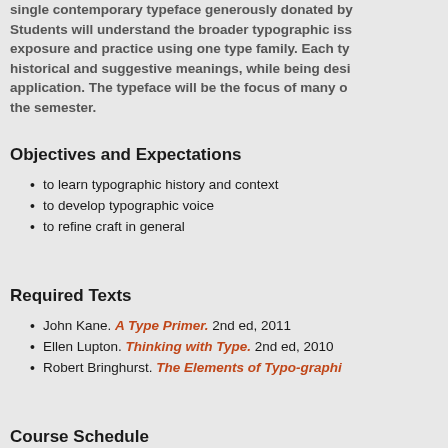single contemporary typeface generously donated by Students will understand the broader typographic issues exposure and practice using one type family. Each type historical and suggestive meanings, while being desirable application. The typeface will be the focus of many of the semester.
Objectives and Expectations
to learn typographic history and context
to develop typographic voice
to refine craft in general
Required Texts
John Kane. A Type Primer. 2nd ed, 2011
Ellen Lupton. Thinking with Type. 2nd ed, 2010
Robert Bringhurst. The Elements of Typo-graphi
Course Schedule
Unit One: Microtypography